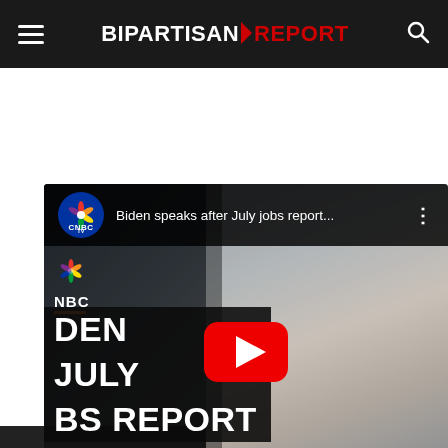BIPARTISAN REPORT
[Figure (screenshot): YouTube video embed showing CNBC TV video titled 'Biden speaks after July jobs report...' with thumbnail of President Biden in profile view and overlay text 'BIDEN ON JULY JOBS REPORT'. Large YouTube play button visible in center.]